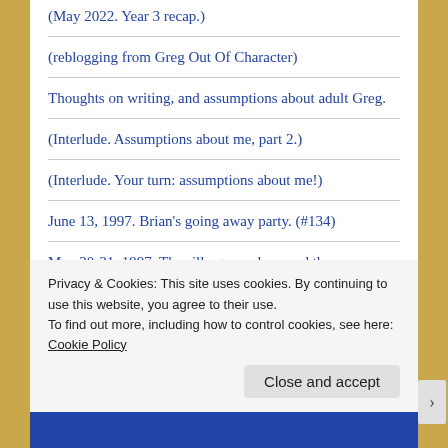(May 2022. Year 3 recap.)
(reblogging from Greg Out Of Character)
Thoughts on writing, and assumptions about adult Greg.
(Interlude. Assumptions about me, part 2.)
(Interlude. Your turn: assumptions about me!)
June 13, 1997. Brian's going away party. (#134)
May 30-31, 1997. The silly game show and the
Privacy & Cookies: This site uses cookies. By continuing to use this website, you agree to their use.
To find out more, including how to control cookies, see here: Cookie Policy
Close and accept